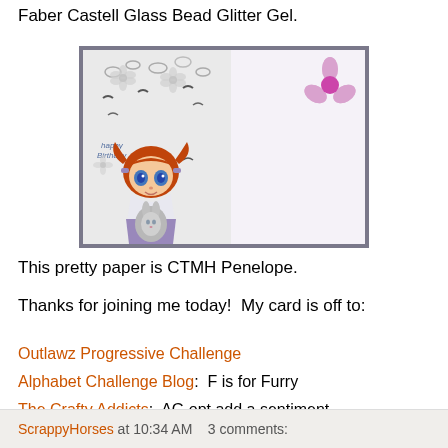Faber Castell Glass Bead Glitter Gel.
[Figure (photo): A handmade birthday card open and displayed, showing a cartoon girl with orange pigtails holding a bunny on the left panel with flowers stamped in gray, and a plain white panel on the right with a pink flower embellishment in the top corner. The card is set against a gray/purple background.]
This pretty paper is CTMH Penelope.
Thanks for joining me today!  My card is off to:
Outlawz Progressive Challenge
Alphabet Challenge Blog:  F is for Furry
The Crafty Addicts:  AG opt add a sentiment
ScrappyHorses at 10:34 AM    3 comments: